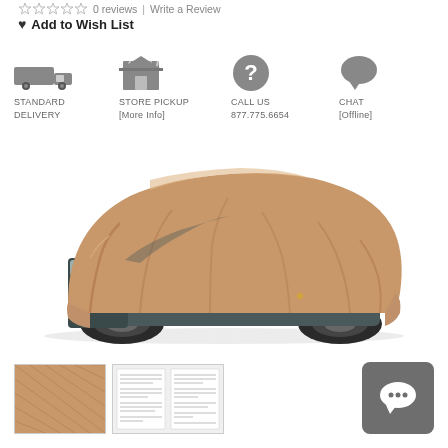0 reviews | Write a Review
♥ Add to Wish List
[Figure (infographic): Four delivery/service option icons in a row: Standard Delivery (truck icon), Store Pickup [More Info] (store icon), Call Us 877.775.6654 (question mark icon), Chat [Offline] (speech bubble icon)]
[Figure (photo): A tan/beige car cover draped over a dark gray Chrysler 300 sedan, shown on a white background. The car cover is fitted and shows the shape of the vehicle.]
[Figure (photo): Small thumbnail image of the tan fabric texture of the car cover]
[Figure (photo): Small thumbnail image showing a product information/specification document]
[Figure (other): Gray rounded square button with a chat/speech bubble icon (offline chat widget)]